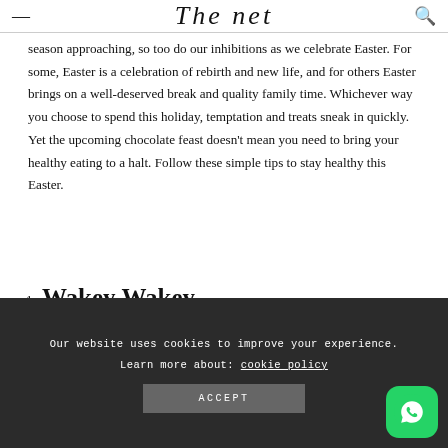The net
season approaching, so too do our inhibitions as we celebrate Easter. For some, Easter is a celebration of rebirth and new life, and for others Easter brings on a well-deserved break and quality family time. Whichever way you choose to spend this holiday, temptation and treats sneak in quickly. Yet the upcoming chocolate feast doesn't mean you need to bring your healthy eating to a halt. Follow these simple tips to stay healthy this Easter.
1. Wakey Wakey
Over the long weekend, start each day off with a
Our website uses cookies to improve your experience. Learn more about: cookie policy
ACCEPT